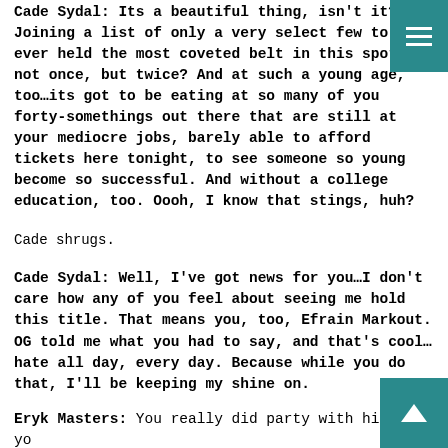Cade Sydal: Its a beautiful thing, isn't it? Joining a list of only a very select few to have ever held the most coveted belt in this sport not once, but twice? And at such a young age, too…its got to be eating at so many of you forty-somethings out there that are still at your mediocre jobs, barely able to afford tickets here tonight, to see someone so young become so successful. And without a college education, too. Oooh, I know that stings, huh?
Cade shrugs.
Cade Sydal: Well, I've got news for you…I don't care how any of you feel about seeing me hold this title. That means you, too, Efrain Markout. OG told me what you had to say, and that's cool…hate all day, every day. Because while you do that, I'll be keeping my shine on.
Eryk Masters: You really did party with him? And you sold me out?